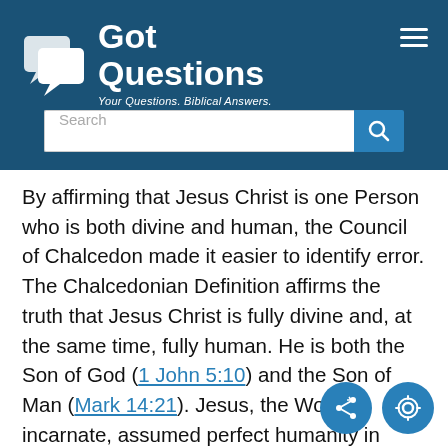[Figure (logo): GotQuestions logo with speech bubble icons and tagline 'Your Questions. Biblical Answers.' on dark blue header background]
[Figure (screenshot): Search bar with placeholder text 'Search' and blue search button]
By affirming that Jesus Christ is one Person who is both divine and human, the Council of Chalcedon made it easier to identify error. The Chalcedonian Definition affirms the truth that Jesus Christ is fully divine and, at the same time, fully human. He is both the Son of God (1 John 5:10) and the Son of Man (Mark 14:21). Jesus, the Word incarnate, assumed perfect humanity in order to save fallen humanity. He could not have saved us unless he was fully God and fully man.
The Council of Chalcedon was also significan